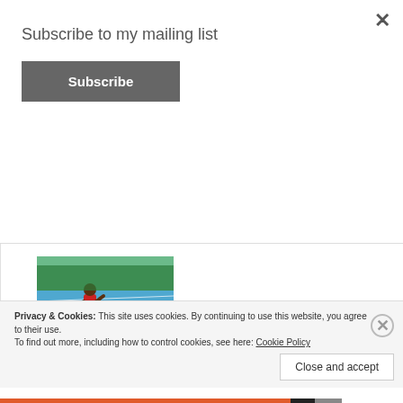Subscribe to my mailing list
Subscribe
[Figure (photo): Athlete in red outfit standing on a blue running track]
Persistent Pursuit of Progression – An Interview with Mikel Thomas
June 2, 2015
Privacy & Cookies: This site uses cookies. By continuing to use this website, you agree to their use.
To find out more, including how to control cookies, see here: Cookie Policy
Close and accept